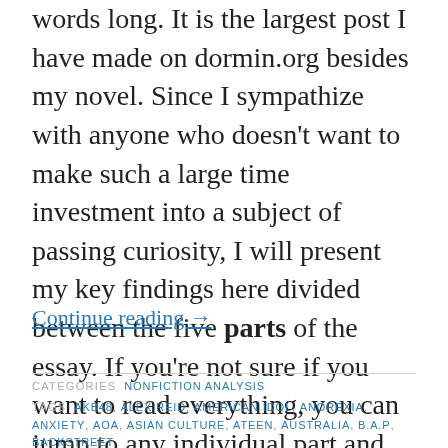words long. It is the largest post I have made on dormin.org besides my novel. Since I sympathize with anyone who doesn't want to make such a large time investment into a subject of passing curiosity, I will present my key findings here divided between the five parts of the essay. If you're not sure if you want to read everything, you can jump to any individual part and understand it without reading the other sections.
Continue reading →
CATEGORIES  NONFICTION ANALYSIS
TAGS  AKB48, ALEX REID, AMERICAN IDOL, ANOREXIA, ANXIETY, AOA, ASIAN CULTURE, ATEEN, AUSTRALIA, B.A.P, BACKSTREET BOYS, BAEKHYUN, BEYONCE, BIG BANG, BIG HIT,